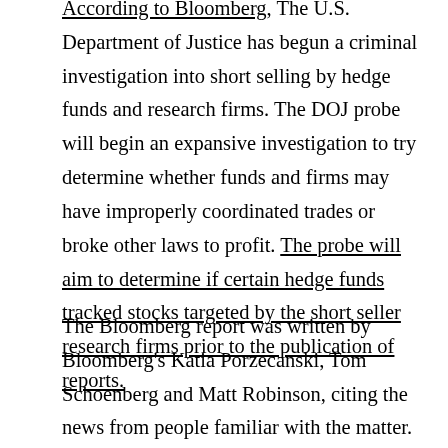According to Bloomberg, The U.S. Department of Justice has begun a criminal investigation into short selling by hedge funds and research firms. The DOJ probe will begin an expansive investigation to try determine whether funds and firms may have improperly coordinated trades or broke other laws to profit. The probe will aim to determine if certain hedge funds tracked stocks targeted by the short seller research firms prior to the publication of reports.
The Bloomberg report was written by Bloomberg's Katia Porzecanski, Tom Schoenberg and Matt Robinson, citing the news from people familiar with the matter. Federal investigators will examine trading in multiple stocks...